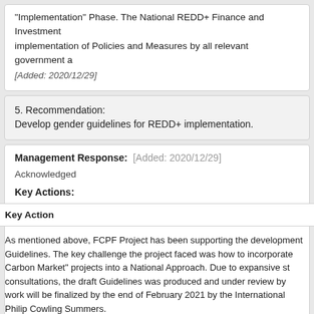“Implementation” Phase. The National REDD+ Finance and Investment implementation of Policies and Measures by all relevant government a
[Added: 2020/12/29]
5. Recommendation:
Develop gender guidelines for REDD+ implementation.
Management Response: [Added: 2020/12/29]
Acknowledged
Key Actions:
Key Action
As mentioned above, FCPF Project has been supporting the development of Guidelines. The key challenge the project faced was how to incorporate Carbon Market” projects into a National Approach. Due to expansive consultations, the draft Guidelines was produced and under review by work will be finalized by the end of February 2021 by the International Philip Cowling Summers.